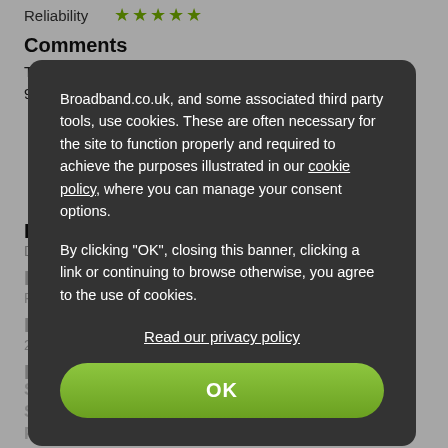Reliability ★★★★★
Comments
The modem arrived as promised. The service started at 9am. The speed is currently 35mbs. What's not to like.
Broadband.co.uk, and some associated third party tools, use cookies. These are often necessary for the site to function properly and required to achieve the purposes illustrated in our cookie policy, where you can manage your consent options.
By clicking "OK", closing this banner, clicking a link or continuing to browse otherwise, you agree to the use of cookies.
Read our privacy policy
OK